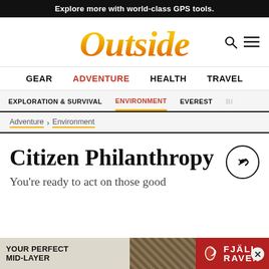Explore more with world-class GPS tools.
[Figure (logo): Outside magazine logo in orange/red gradient italic serif font]
GEAR  ADVENTURE  HEALTH  TRAVEL
EXPLORATION & SURVIVAL  ENVIRONMENT  EVEREST  BI...
Adventure > Environment
Citizen Philanthropy
You're ready to act on those good int... id-layer org...
[Figure (screenshot): Bottom overlay advertisement for Fjall Raven featuring YOUR PERFECT MID-LAYER text]